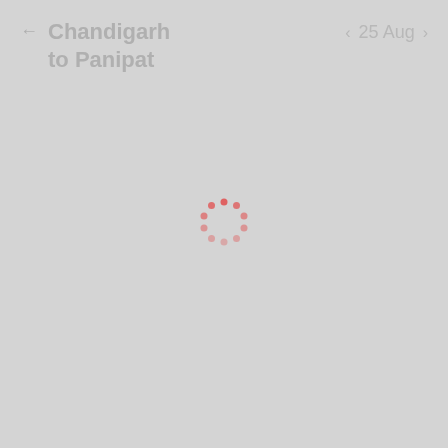← Chandigarh to Panipat   < 25 Aug >
[Figure (other): Loading spinner: a circle of red dashed/dotted segments indicating content is loading, centered on the page]